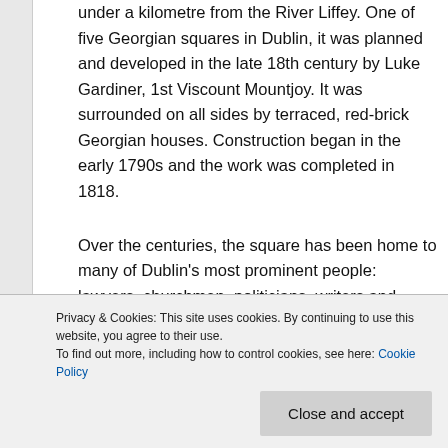under a kilometre from the River Liffey. One of five Georgian squares in Dublin, it was planned and developed in the late 18th century by Luke Gardiner, 1st Viscount Mountjoy. It was surrounded on all sides by terraced, red-brick Georgian houses. Construction began in the early 1790s and the work was completed in 1818.
Over the centuries, the square has been home to many of Dublin's most prominent people: lawyers, churchmen, politicians, writers and visual artists. The writer James Joyce lived around the square during some of his formative years, playwright Seán
made in the square. Historic meetings have taken
Privacy & Cookies: This site uses cookies. By continuing to use this website, you agree to their use.
To find out more, including how to control cookies, see here: Cookie Policy
Close and accept